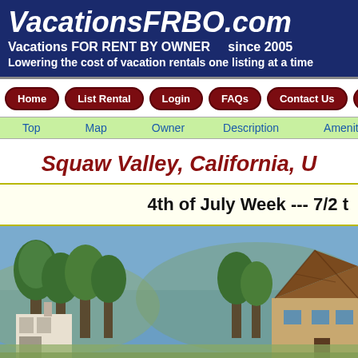VacationsFRBO.com Vacations FOR RENT BY OWNER since 2005 Lowering the cost of vacation rentals one listing at a time
Home
List Rental
Login
FAQs
Contact Us
Pricing
Top
Map
Owner
Description
Ameniti...
Squaw Valley, California, U...
4th of July Week --- 7/2 t...
[Figure (photo): Outdoor photo showing trees and a building with a distinctive pointed/cone-shaped roof against a blue sky, in Squaw Valley California]